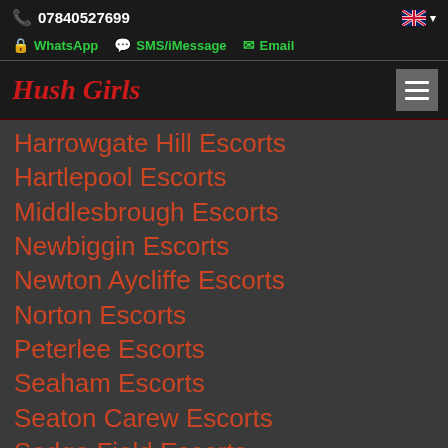07840527699
WhatsApp  SMS/iMessage  Email
Hush Girls
Harrowgate Hill Escorts
Hartlepool Escorts
Middlesbrough Escorts
Newbiggin Escorts
Newton Aycliffe Escorts
Norton Escorts
Peterlee Escorts
Seaham Escorts
Seaton Carew Escorts
Sedge Field Escorts
Spennymoor Escorts